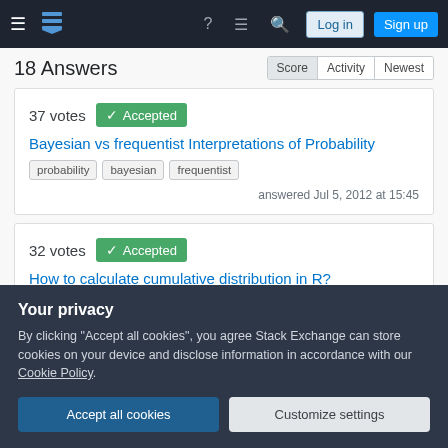Stack Exchange navigation bar with Log in and Sign up buttons
18 Answers
37 votes  Accepted
Bayesian vs frequentist Interpretations of Probability
tags: probability, bayesian, frequentist
answered Jul 5, 2012 at 15:45
32 votes  Accepted
How to calculate cumulative distribution in R?
tags: r, distributions, cumulative-distribution-function
Your privacy
By clicking "Accept all cookies", you agree Stack Exchange can store cookies on your device and disclose information in accordance with our Cookie Policy.
Accept all cookies  Customize settings